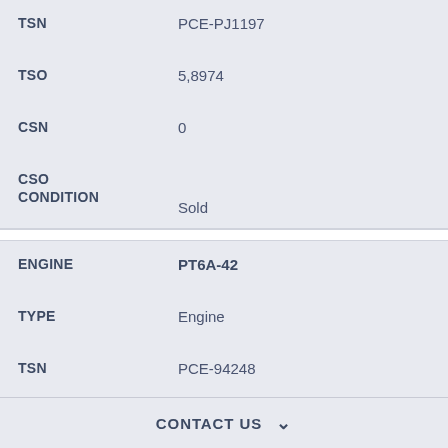| Field | Value |
| --- | --- |
| TSN | PCE-PJ1197 |
| TSO | 5,8974 |
| CSN | 0 |
| CSO CONDITION | Sold |
| Field | Value |
| --- | --- |
| ENGINE | PT6A-42 |
| TYPE | Engine |
| TSN | PCE-94248 |
| TSO | 10,288 |
| CSN | 0 |
| CSO CONDITION | Sold |
CONTACT US